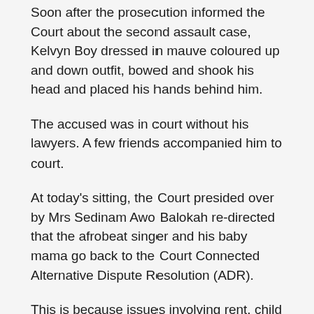Soon after the prosecution informed the Court about the second assault case, Kelvyn Boy dressed in mauve coloured up and down outfit, bowed and shook his head and placed his hands behind him.
The accused was in court without his lawyers. A few friends accompanied him to court.
At today's sitting, the Court presided over by Mrs Sedinam Awo Balokah re-directed that the afrobeat singer and his baby mama go back to the Court Connected Alternative Dispute Resolution (ADR).
This is because issues involving rent, child maintenance and school fees among others had not been addressed during the court connected ADR Process.
Additionally, the Court noted that the Mediator confused the…